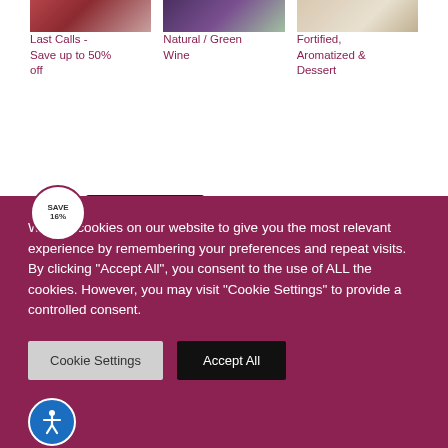[Figure (photo): Wine glass with red wine photo thumbnail]
[Figure (photo): Grapes and wine photo thumbnail]
[Figure (photo): Clear wine glasses photo thumbnail]
Last Calls - Save up to 50% off
Natural / Green Wine
Fortified, Aromatized & Dessert
[Figure (photo): Product photo: champagne/wine bottle in dark green with box, SAVE 16% badge overlay]
We use cookies on our website to give you the most relevant experience by remembering your preferences and repeat visits. By clicking “Accept All”, you consent to the use of ALL the cookies. However, you may visit “Cookie Settings” to provide a controlled consent.
Cookie Settings
Accept All